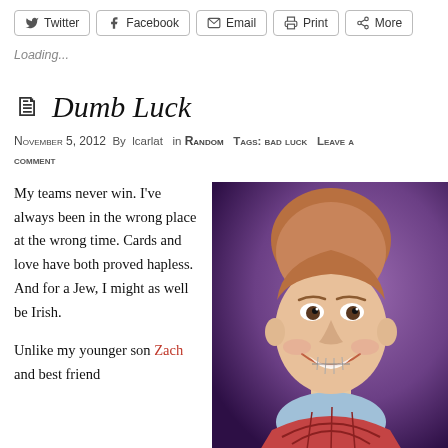Twitter | Facebook | Email | Print | More
Loading...
Dumb Luck
November 5, 2012  By  lcarlat  in Random  Tags: bad luck  Leave a comment
My teams never win. I've always been in the wrong place at the wrong time. Cards and love have both proved hapless. And for a Jew, I might as well be Irish.

Unlike my younger son Zach and best friend
[Figure (photo): Photo of 'Bad Luck Brian' meme — a young man with short reddish-brown hair, braces, wearing a plaid sweater over a collared shirt, smiling awkwardly, purple/dark background.]